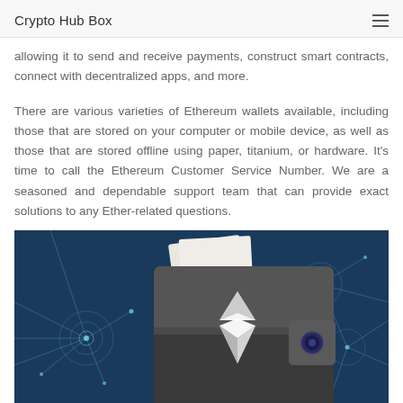Crypto Hub Box
allowing it to send and receive payments, construct smart contracts, connect with decentralized apps, and more.
There are various varieties of Ethereum wallets available, including those that are stored on your computer or mobile device, as well as those that are stored offline using paper, titanium, or hardware. It's time to call the Ethereum Customer Service Number. We are a seasoned and dependable support team that can provide exact solutions to any Ether-related questions.
[Figure (illustration): Ethereum wallet illustration showing a dark wallet with the Ethereum diamond logo on a blue neural network background]